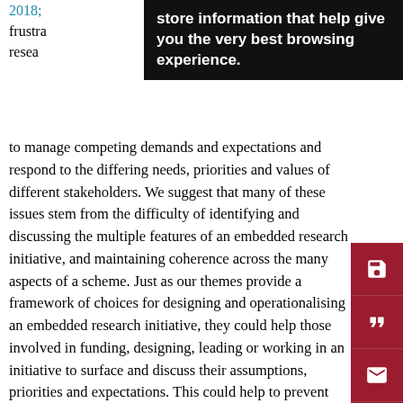2018; frustra resea
[Figure (screenshot): Cookie consent banner with dark background: 'store information that help give you the very best browsing experience.']
to manage competing demands and expectations and respond to the differing needs, priorities and values of different stakeholders. We suggest that many of these issues stem from the difficulty of identifying and discussing the multiple features of an embedded research initiative, and maintaining coherence across the many aspects of a scheme. Just as our themes provide a framework of choices for designing and operationalising an embedded research initiative, they could help those involved in funding, designing, leading or working in an initiative to surface and discuss their assumptions, priorities and expectations. This could help to prevent many of the tensions that arise, as well as highlighting potential areas of inconsistency. Researchers could similarly use the themes as a framework for analysing and assessing the internal coherence of individual initiatives and the extent to which the various features have been considered by those